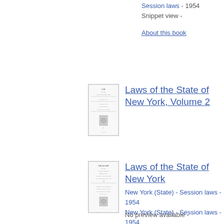Session laws - 1954
Snippet view -
About this book
[Figure (illustration): Book cover thumbnail for Laws of the State of New York, Volume 2]
Laws of the State of New York, Volume 2
New York (State) - Session laws - 1954
No preview available -
About this book
[Figure (illustration): Book cover thumbnail for Laws of the State of New York]
Laws of the State of New York
New York (State) - Session laws - 1954